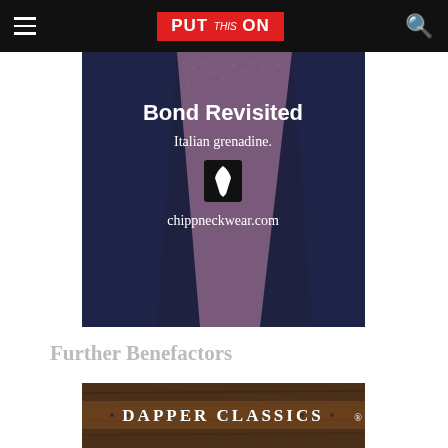PUT this ON
[Figure (photo): Purple Italian grenadine tie overlapping dark navy ties with text 'Bond Revisited Italian grenadine. chippneckwear.com' and a small logo icon]
Further Benefactors
[Figure (photo): Close-up of leather belt and perforated shoe with 'DAPPER CLASSICS' brand text overlay]